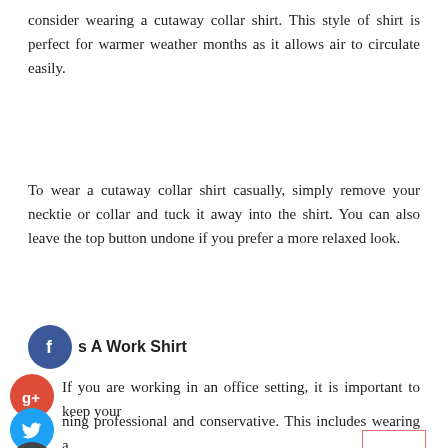consider wearing a cutaway collar shirt. This style of shirt is perfect for warmer weather months as it allows air to circulate easily.
To wear a cutaway collar shirt casually, simply remove your necktie or collar and tuck it away into the shirt. You can also leave the top button undone if you prefer a more relaxed look.
s A Work Shirt
If you are working in an office setting, it is important to keep your ing professional and conservative. This includes wearing a away collar shirt.
A cutaway collar shirt is formal enough for work but still comfortable enough to wear outside of work later in the day. To